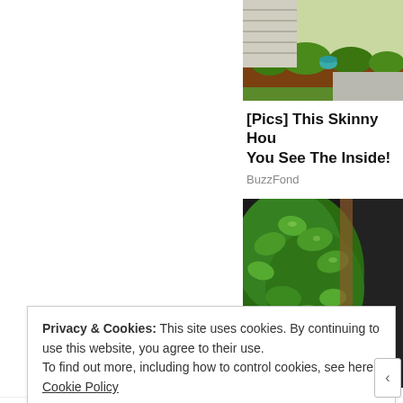[Figure (photo): Outdoor garden scene with mulched flower bed, green lawn, teal bowl, and house siding in background — top portion of article thumbnail]
[Pics] This Skinny Hou... You See The Inside!
BuzzFond
[Figure (photo): Close-up of lush green leafy vine plant growing up a vertical surface, with dark background]
Privacy & Cookies: This site uses cookies. By continuing to use this website, you agree to their use.
To find out more, including how to control cookies, see here: Cookie Policy
Close and accept